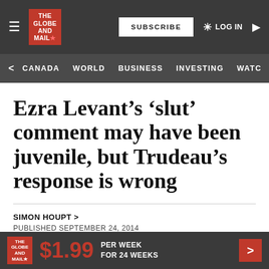The Globe and Mail — SUBSCRIBE  LOG IN
CANADA  WORLD  BUSINESS  INVESTING  WATC
Ezra Levant’s ‘slut’ comment may have been juvenile, but Trudeau’s response is wrong
SIMON HOUPT >
PUBLISHED SEPTEMBER 24, 2014
This article was published more than 7 years ago. Some
$1.99 PER WEEK FOR 24 WEEKS